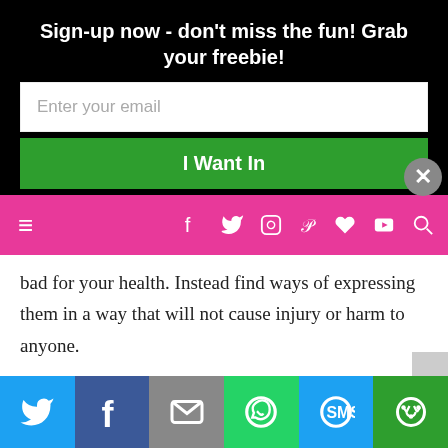Sign-up now - don't miss the fun! Grab your freebie!
[Figure (screenshot): Email signup form with text input 'Enter your email' and green 'I Want In' button on black background]
[Figure (screenshot): Pink navigation bar with hamburger menu and social media icons (Facebook, Twitter, Instagram, Pinterest, heart, YouTube, search)]
bad for your health. Instead find ways of expressing them in a way that will not cause injury or harm to anyone.
Learning is a joyful exercise. Try and learn something new every day. Learning also makes us expand and broaden our horizons. And could also give us more opportunities in the future.
[Figure (screenshot): Share bar with Twitter, Facebook, Email, WhatsApp, SMS, and more sharing buttons]